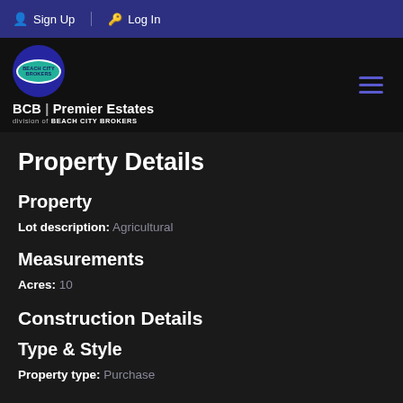Sign Up  Log In
[Figure (logo): Beach City Brokers logo with teal oval on blue circle, BCB | Premier Estates text, division of BEACH CITY BROKERS]
Property Details
Property
Lot description: Agricultural
Measurements
Acres: 10
Construction Details
Type & Style
Property type: Purchase